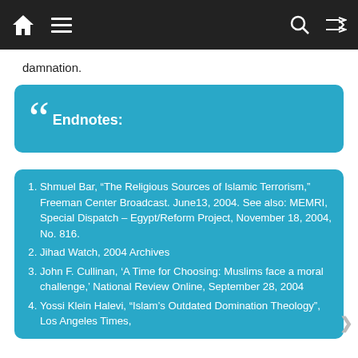[Navigation bar with home, menu, search, shuffle icons]
damnation.
Endnotes:
Shmuel Bar, “The Religious Sources of Islamic Terrorism,” Freeman Center Broadcast. June13, 2004. See also: MEMRI, Special Dispatch – Egypt/Reform Project, November 18, 2004, No. 816.
Jihad Watch, 2004 Archives
John F. Cullinan, ‘A Time for Choosing: Muslims face a moral challenge,’ National Review Online, September 28, 2004
Yossi Klein Halevi, “Islam’s Outdated Domination Theology”, Los Angeles Times,